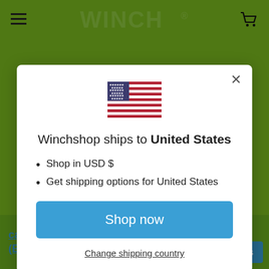WINCHI® (website header with hamburger menu and cart icon)
[Figure (screenshot): US flag emoji/illustration displayed centered in modal dialog]
Winchshop ships to United States
Shop in USD $
Get shipping options for United States
Shop now
Change shipping country
cast iron pulley with pressed steel bracket (ETTER) Ref: 155-4